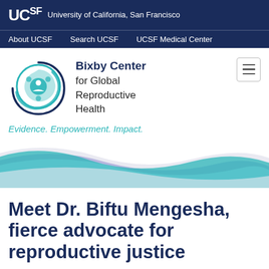UCSF  University of California, San Francisco
About UCSF    Search UCSF    UCSF Medical Center
[Figure (logo): Bixby Center for Global Reproductive Health logo with teal circular swirl graphic]
Bixby Center for Global Reproductive Health
Evidence. Empowerment. Impact.
[Figure (illustration): Decorative wave graphic with teal, blue, purple, and gray translucent wave bands]
Meet Dr. Biftu Mengesha, fierce advocate for reproductive justice